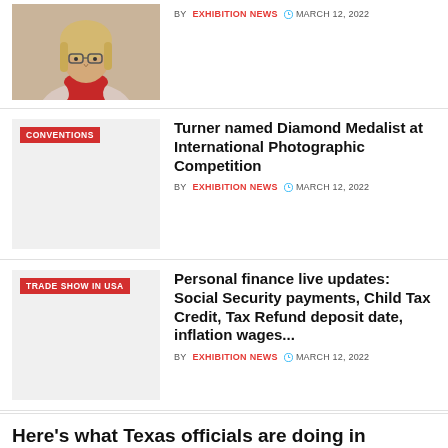[Figure (photo): Photo of a blonde woman wearing glasses and a red scarf]
BY EXHIBITION NEWS  MARCH 12, 2022
[Figure (photo): Gray placeholder thumbnail with CONVENTIONS tag]
Turner named Diamond Medalist at International Photographic Competition
BY EXHIBITION NEWS  MARCH 12, 2022
[Figure (photo): Gray placeholder thumbnail with TRADE SHOW IN USA tag]
Personal finance live updates: Social Security payments, Child Tax Credit, Tax Refund deposit date, inflation wages...
BY EXHIBITION NEWS  MARCH 12, 2022
Here's what Texas officials are doing in response to the Russian attack on Ukraine – Caller Times
BY EXHIBITION NEWS  MARCH 12, 2022